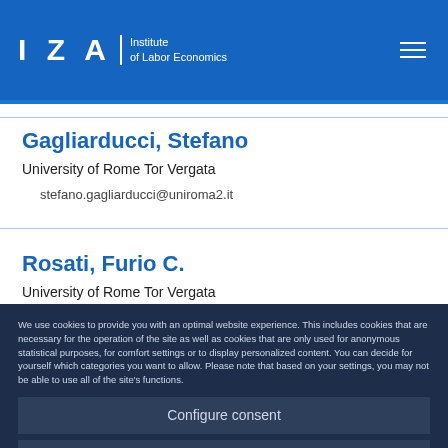IZA Institute of Labor Economics
Gagliarducci, Stefano
University of Rome Tor Vergata
stefano.gagliarducci@uniroma2.it
Rosati, Furio C.
University of Rome Tor Vergata
We use cookies to provide you with an optimal website experience. This includes cookies that are necessary for the operation of the site as well as cookies that are only used for anonymous statistical purposes, for comfort settings or to display personalized content. You can decide for yourself which categories you want to allow. Please note that based on your settings, you may not be able to use all of the site's functions.
Configure consent
Accept all